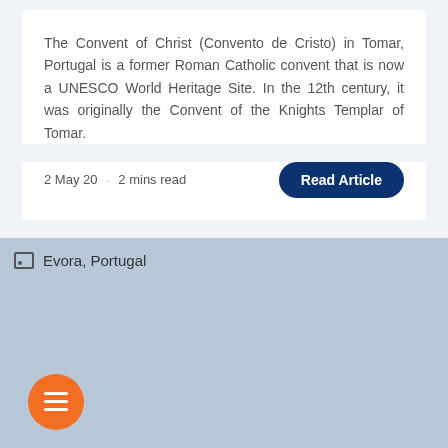The Convent of Christ (Convento de Cristo) in Tomar, Portugal is a former Roman Catholic convent that is now a UNESCO World Heritage Site. In the 12th century, it was originally the Convent of the Knights Templar of Tomar.
2 May 20 · 2 mins read
[Figure (illustration): Blue rounded rectangle button labeled 'Read Article' on dark navy background]
[Figure (photo): Image placeholder for Evora, Portugal with a broken image icon and alt text label, shown as a light blue-grey rectangle]